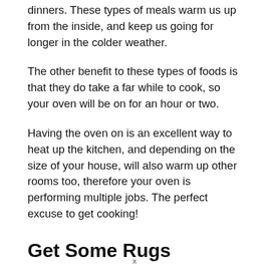dinners. These types of meals warm us up from the inside, and keep us going for longer in the colder weather.
The other benefit to these types of foods is that they do take a far while to cook, so your oven will be on for an hour or two.
Having the oven on is an excellent way to heat up the kitchen, and depending on the size of your house, will also warm up other rooms too, therefore your oven is performing multiple jobs. The perfect excuse to get cooking!
Get Some Rugs